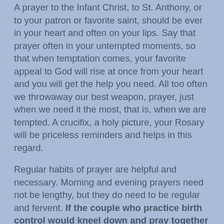A prayer to the Infant Christ, to St. Anthony, or to your patron or favorite saint, should be ever in your heart and often on your lips. Say that prayer often in your untempted moments, so that when temptation comes, your favorite appeal to God will rise at once from your heart and you will get the help you need. All too often we throwaway our best weapon, prayer, just when we need it the most, that is, when we are tempted. A crucifix, a holy picture, your Rosary will be priceless reminders and helps in this regard.
Regular habits of prayer are helpful and necessary. Morning and evening prayers need not be lengthy, but they do need to be regular and fervent. If the couple who practice birth control would kneel down and pray together each evening, they would soon abandon their lustful practice.
If those keeping company would say a prayer together, they would not fall into sin so easily. If